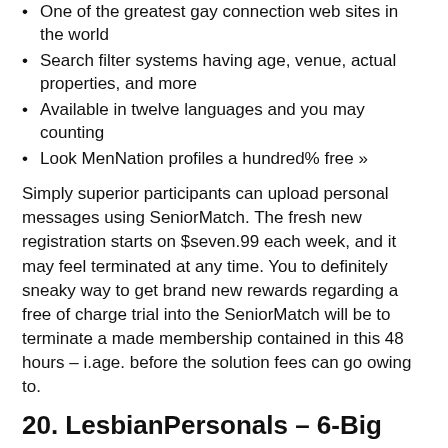One of the greatest gay connection web sites in the world
Search filter systems having age, venue, actual properties, and more
Available in twelve languages and you may counting
Look MenNation profiles a hundred% free »
Simply superior participants can upload personal messages using SeniorMatch. The fresh new registration starts on $seven.99 each week, and it may feel terminated at any time. You to definitely sneaky way to get brand new rewards regarding a free of charge trial into the SeniorMatch will be to terminate a made membership contained in this 48 hours – i.age. before the solution fees can go owing to.
20. LesbianPersonals – 6-Big date Free trial
It is free to socialize that have LGBTQt female